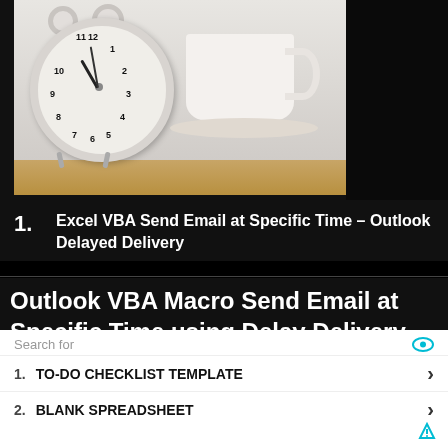[Figure (photo): Photo of a white alarm clock and a white coffee cup on a saucer sitting on a wooden table, against a light background. Right side of the photo area is a dark/black panel.]
1. Excel VBA Send Email at Specific Time – Outlook Delayed Delivery
Outlook VBA Macro Send Email at Specific Time using Delay Delivery Option. This delayed delivery is a built in function & available with
Search for
1. TO-DO CHECKLIST TEMPLATE
2. BLANK SPREADSHEET